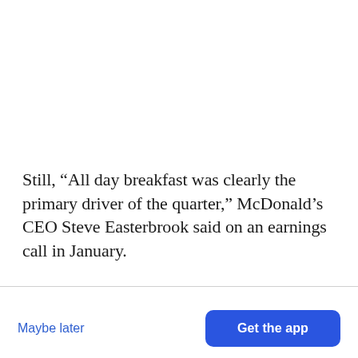Still, “All day breakfast was clearly the primary driver of the quarter,” McDonald’s CEO Steve Easterbrook said on an earnings call in January.
[Figure (other): BuzzFeed app notification card with red circular logo showing a white upward arrow, title 'Get the latest news in the app!', subtitle 'Stay up to date on the most breaking news, all from your BuzzFeed app.', a 'Maybe later' text button and a blue 'Get the app' button.]